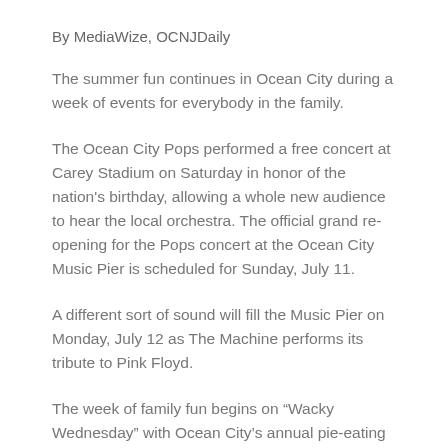By MediaWize, OCNJDaily
The summer fun continues in Ocean City during a week of events for everybody in the family.
The Ocean City Pops performed a free concert at Carey Stadium on Saturday in honor of the nation's birthday, allowing a whole new audience to hear the local orchestra. The official grand re-opening for the Pops concert at the Ocean City Music Pier is scheduled for Sunday, July 11.
A different sort of sound will fill the Music Pier on Monday, July 12 as The Machine performs its tribute to Pink Floyd.
The week of family fun begins on “Wacky Wednesday” with Ocean City’s annual pie-eating contest. Here’s more information on all of the week's events.